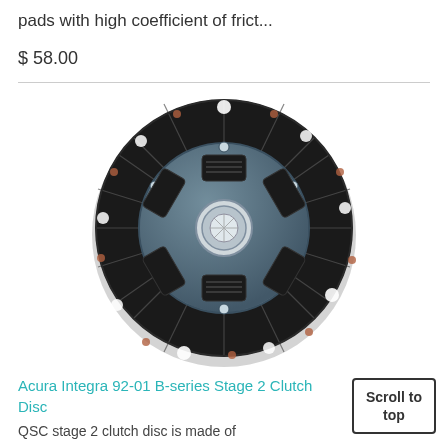pads with high coefficient of frict...
$ 58.00
[Figure (photo): Clutch disc for Acura Integra 92-01 B-series Stage 2 — circular disc with friction pads, coil springs around hub, and splined center hole, viewed from front]
Acura Integra 92-01 B-series Stage 2 Clutch Disc
QSC stage 2 clutch disc is made of